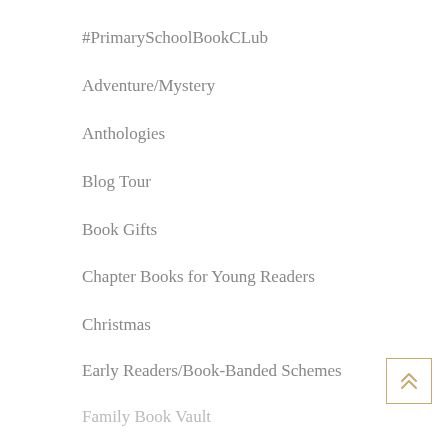#PrimarySchoolBookCLub
Adventure/Mystery
Anthologies
Blog Tour
Book Gifts
Chapter Books for Young Readers
Christmas
Early Readers/Book-Banded Schemes
Family Book Vault
Fantasy
Fiction
Historical